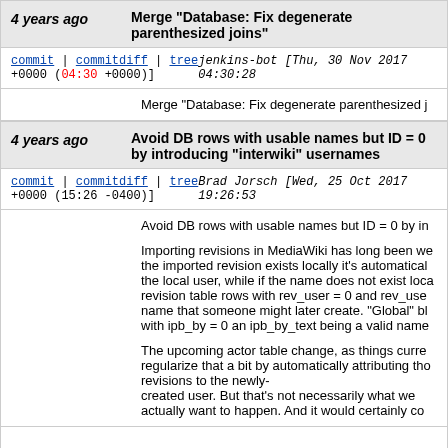4 years ago  Merge "Database: Fix degenerate parenthesized joins"
commit | commitdiff | tree  jenkins-bot [Thu, 30 Nov 2017 04:30:28 +0000 (04:30 +0000)]
Merge "Database: Fix degenerate parenthesized j...
4 years ago  Avoid DB rows with usable names but ID = 0 by introducing "interwiki" usernames
commit | commitdiff | tree  Brad Jorsch [Wed, 25 Oct 2017 19:26:53 +0000 (15:26 -0400)]
Avoid DB rows with usable names but ID = 0 by in...

Importing revisions in MediaWiki has long been we... the imported revision exists locally it's automatical... the local user, while if the name does not exist loca... revision table rows with rev_user = 0 and rev_use... name that someone might later create. "Global" bl... with ipb_by = 0 an ipb_by_text being a valid name...

The upcoming actor table change, as things curre... regularize that a bit by automatically attributing tho... revisions to the newly-
created user. But that's not necessarily what we... actually want to happen. And it would certainly co...